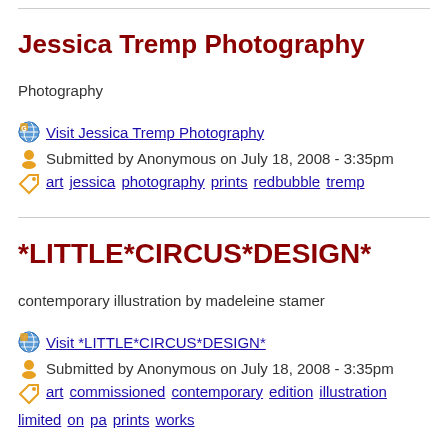Jessica Tremp Photography
Photography
Visit Jessica Tremp Photography
Submitted by Anonymous on July 18, 2008 - 3:35pm
art jessica photography prints redbubble tremp
*LITTLE*CIRCUS*DESIGN*
contemporary illustration by madeleine stamer
Visit *LITTLE*CIRCUS*DESIGN*
Submitted by Anonymous on July 18, 2008 - 3:35pm
art commissioned contemporary edition illustration limited on pa prints works
Sacred Heart Arts